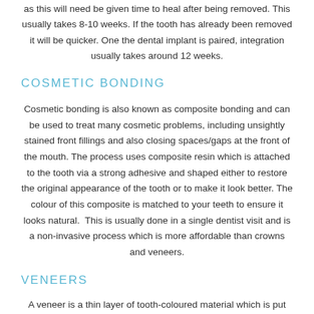as this will need be given time to heal after being removed. This usually takes 8-10 weeks. If the tooth has already been removed it will be quicker. One the dental implant is paired, integration usually takes around 12 weeks.
COSMETIC BONDING
Cosmetic bonding is also known as composite bonding and can be used to treat many cosmetic problems, including unsightly stained front fillings and also closing spaces/gaps at the front of the mouth. The process uses composite resin which is attached to the tooth via a strong adhesive and shaped either to restore the original appearance of the tooth or to make it look better. The colour of this composite is matched to your teeth to ensure it looks natural. This is usually done in a single dentist visit and is a non-invasive process which is more affordable than crowns and veneers.
VENEERS
A veneer is a thin layer of tooth-coloured material which is put onto